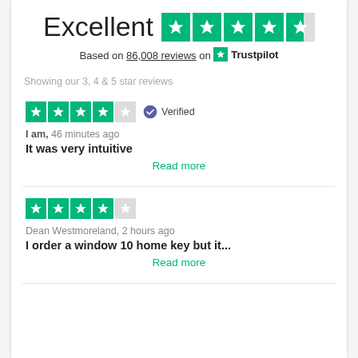[Figure (infographic): Trustpilot 'Excellent' rating widget showing 4.5 green stars out of 5, text 'Based on 86,008 reviews on Trustpilot']
Showing our 3, 4 & 5 star reviews
[Figure (infographic): 4 out of 5 green stars rating with Verified badge]
I am, 46 minutes ago
It was very intuitive
Read more
[Figure (infographic): 4 out of 5 green stars rating]
Dean Westmoreland, 2 hours ago
I order a window 10 home key but it...
Read more